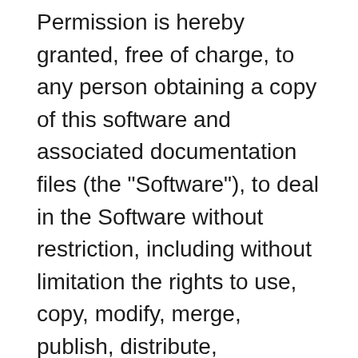Permission is hereby granted, free of charge, to any person obtaining a copy of this software and associated documentation files (the "Software"), to deal in the Software without restriction, including without limitation the rights to use, copy, modify, merge, publish, distribute, sublicense, and/or sell copies of the Software, and to permit persons to whom the Software is furnished to do so, subject to the following conditions:
The above copyright notice and this permission notice shall be included in all copies or substantial portions of the Software.
THE SOFTWARE IS PROVIDED "AS IS", WITHOUT WARRANTY OF ANY KIND, EXPRESS OR IMPLIED, INCLUDING BUT NOT LIMITED TO THE WARRANTIES